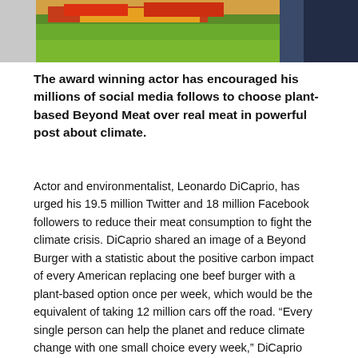[Figure (photo): Cropped photo showing a burger with lettuce and tomatoes on the left side and a person in a suit on the right side, partially visible at the top of the page.]
The award winning actor has encouraged his millions of social media follows to choose plant-based Beyond Meat over real meat in powerful post about climate.
Actor and environmentalist, Leonardo DiCaprio, has urged his 19.5 million Twitter and 18 million Facebook followers to reduce their meat consumption to fight the climate crisis. DiCaprio shared an image of a Beyond Burger with a statistic about the positive carbon impact of every American replacing one beef burger with a plant-based option once per week, which would be the equivalent of taking 12 million cars off the road. “Every single person can help the planet and reduce climate change with one small choice every week,” DiCaprio said.